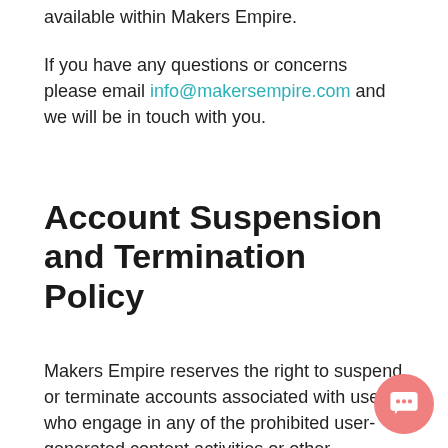available within Makers Empire.
If you have any questions or concerns please email info@makersempire.com and we will be in touch with you.
Account Suspension and Termination Policy
Makers Empire reserves the right to suspend or terminate accounts associated with users who engage in any of the prohibited user-generated content activities or other prohibited activities described above or in any manner that otherwise violates our Terms or other policies.